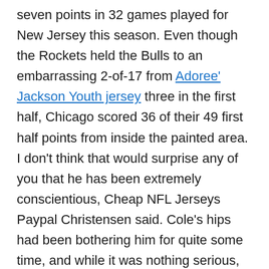seven points in 32 games played for New Jersey this season. Even though the Rockets held the Bulls to an embarrassing 2-of-17 from Adoree' Jackson Youth jersey three in the first half, Chicago scored 36 of their 49 first half points from inside the painted area. I don't think that would surprise any of you that he has been extremely conscientious, Cheap NFL Jerseys Paypal Christensen said. Cole's hips had been bothering him for quite some time, and while it was nothing serious, this past summer presented the best opportunity for him to get both cleaned up. When more than two Clubs are tied, the percentage of available points earned http://www.titansfootballofficialproshops.com/Authentic-Adoree-Jackson-Jersey in games among